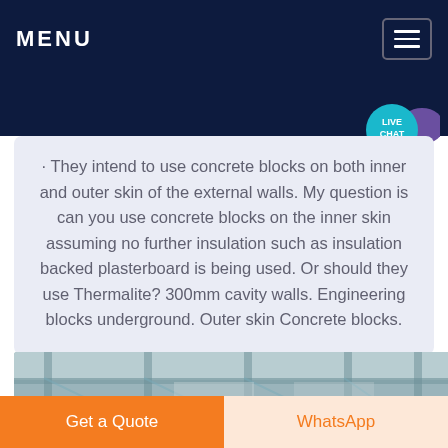MENU
· They intend to use concrete blocks on both inner and outer skin of the external walls. My question is can you use concrete blocks on the inner skin assuming no further insulation such as insulation backed plasterboard is being used. Or should they use Thermalite? 300mm cavity walls. Engineering blocks underground. Outer skin Concrete blocks.
[Figure (photo): Photograph of structural steel or concrete frame building interior showing beams and framework from below]
Get a Quote
WhatsApp